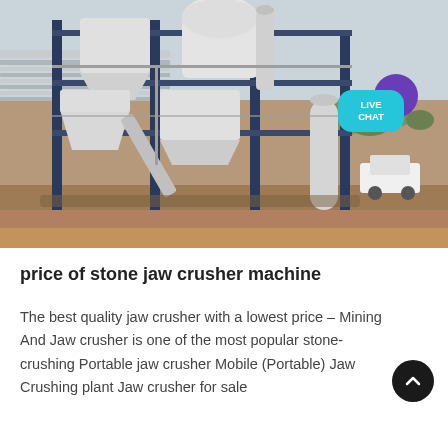[Figure (photo): Industrial stone crushing plant / jaw crusher machine installation outdoors. Large white metal structure with silos, hoppers, conveyor belts, scaffolding and blue steel columns on red/brown dirt ground. Trees visible in background, white pickup truck on right side. Overcast sky.]
price of stone jaw crusher machine
The best quality jaw crusher with a lowest price – Mining And Jaw crusher is one of the most popular stone-crushing Portable jaw crusher Mobile (Portable) Jaw Crushing plant Jaw crusher for sale